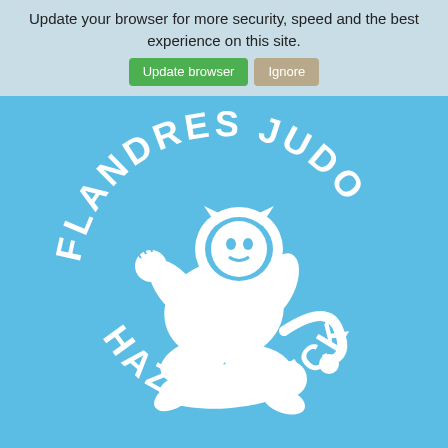Update your browser for more security, speed and the best experience on this site.
[Figure (logo): Flandres Judo Hazebrouck logo: circular badge with white lion performing judo on a blue background, text 'FLANDRES JUDO' at top arc and 'HAZEBROUCK' at bottom arc]